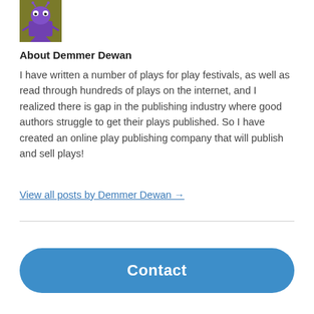[Figure (illustration): Purple cartoon monster avatar on olive/green background]
About Demmer Dewan
I have written a number of plays for play festivals, as well as read through hundreds of plays on the internet, and I realized there is gap in the publishing industry where good authors struggle to get their plays published. So I have created an online play publishing company that will publish and sell plays!
View all posts by Demmer Dewan →
Contact